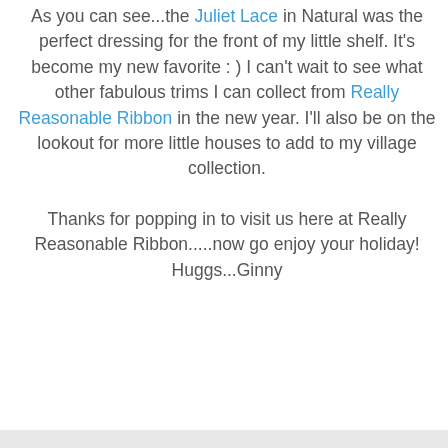As you can see...the Juliet Lace in Natural was the perfect dressing for the front of my little shelf. It's become my new favorite : ) I can't wait to see what other fabulous trims I can collect from Really Reasonable Ribbon in the new year. I'll also be on the lookout for more little houses to add to my village collection.
Thanks for popping in to visit us here at Really Reasonable Ribbon.....now go enjoy your holiday!
Huggs...Ginny